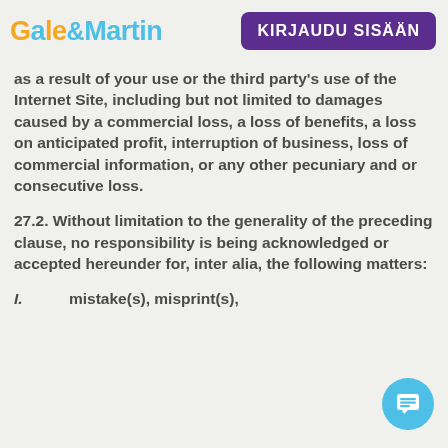Gale&Martin | KIRJAUDU SISÄÄN
as a result of your use or the third party's use of the Internet Site, including but not limited to damages caused by a commercial loss, a loss of benefits, a loss on anticipated profit, interruption of business, loss of commercial information, or any other pecuniary and or consecutive loss.
27.2. Without limitation to the generality of the preceding clause, no responsibility is being acknowledged or accepted hereunder for, inter alia, the following matters:
I.        mistake(s), misprint(s),